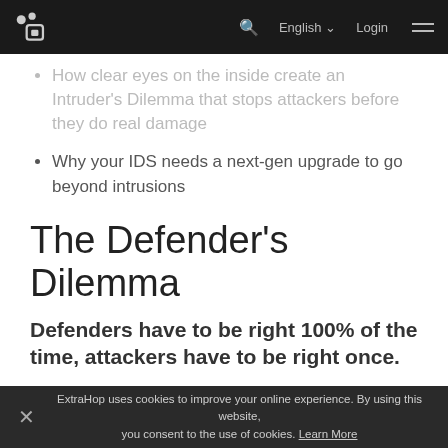ExtraHop navigation bar with logo, search, English language selector, Login, and menu
How clear eyes on the inside create an Intruder's Dilemma that stops attackers before they do real damage
Why your IDS needs a next-gen upgrade to go beyond intrusions
The Defender's Dilemma
Defenders have to be right 100% of the time, attackers have to be right once.
The defender's dilemma defines an unpleasant axiom in the security industry: It's inevitable that a determined attacker will find a way in. It is unclear who first coined the phrase, but it became generally recognized after the Rand Corporation
ExtraHop uses cookies to improve your online experience. By using this website, you consent to the use of cookies. Learn More